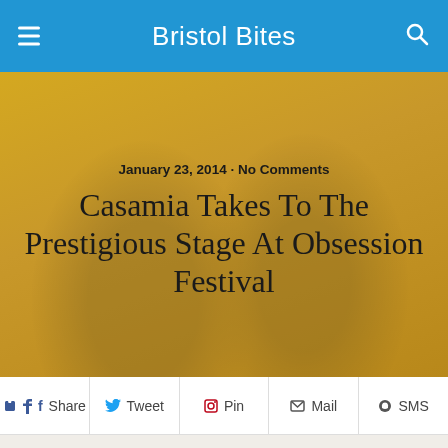Bristol Bites
January 23, 2014 · No Comments
Casamia Takes To The Prestigious Stage At Obsession Festival
Share  Tweet  Pin  Mail  SMS
Spread the love
[Figure (photo): Photo of two men at a restaurant entrance]
[Figure (infographic): Row of social media sharing icon circles: Facebook, Twitter, Google+, LinkedIn, Pinterest, Reddit, StumbleUpon-like, WhatsApp, Share]